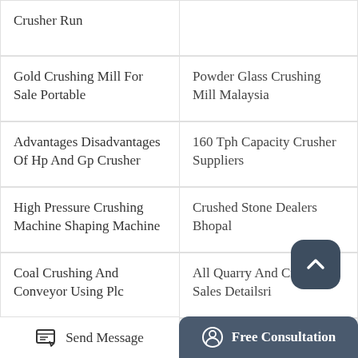Crusher Run
Powder Glass Crushing Mill Malaysia
Gold Crushing Mill For Sale Portable
160 Tph Capacity Crusher Suppliers
Advantages Disadvantages Of Hp And Gp Crusher
Crushed Stone Dealers Bhopal
High Pressure Crushing Machine Shaping Machine
All Quarry And Crusher Sales Detailsri
Coal Crushing And Conveyor Using Plc
Portable Metalescrap Crusher For Sale
Dolomite Crushing
Send Message
Free Consultation